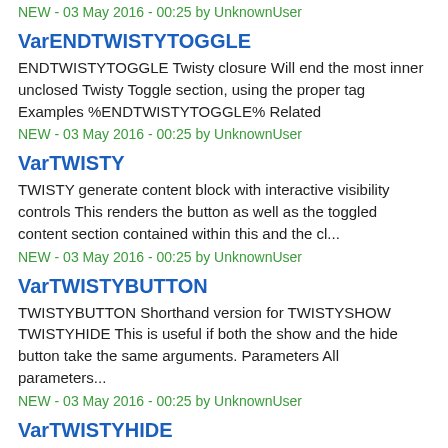NEW - 03 May 2016 - 00:25 by UnknownUser
VarENDTWISTYTOGGLE
ENDTWISTYTOGGLE Twisty closure Will end the most inner unclosed Twisty Toggle section, using the proper tag Examples %ENDTWISTYTOGGLE% Related
NEW - 03 May 2016 - 00:25 by UnknownUser
VarTWISTY
TWISTY generate content block with interactive visibility controls This renders the button as well as the toggled content section contained within this and the cl...
NEW - 03 May 2016 - 00:25 by UnknownUser
VarTWISTYBUTTON
TWISTYBUTTON Shorthand version for TWISTYSHOW TWISTYHIDE This is useful if both the show and the hide button take the same arguments. Parameters All parameters...
NEW - 03 May 2016 - 00:25 by UnknownUser
VarTWISTYHIDE
TWISTYHIDE Hide/close link Parameters Parameter Description Default